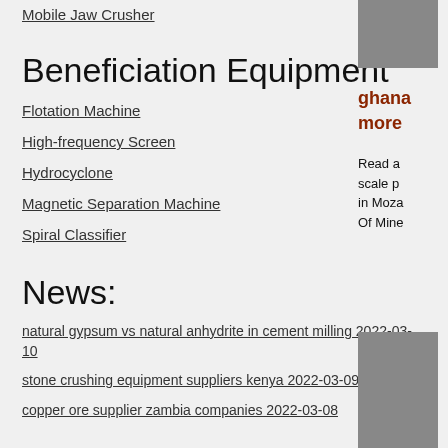Mobile Jaw Crusher
[Figure (photo): Photo of mining/crushing equipment, partially visible at top-right]
Beneficiation Equipment
ghana more
Read a scale p in Moza Of Mine
Flotation Machine
High-frequency Screen
Hydrocyclone
Magnetic Separation Machine
Spiral Classifier
News:
[Figure (photo): Photo of equipment or machinery, partially visible at bottom-right]
natural gypsum vs natural anhydrite in cement milling  2022-03-10
stone crushing equipment suppliers kenya  2022-03-09
copper ore supplier zambia companies  2022-03-08
ghana